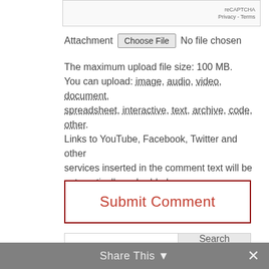[Figure (screenshot): reCAPTCHA widget box showing 'reCAPTCHA' branding with Privacy and Terms links]
Attachment [Choose File] No file chosen
The maximum upload file size: 100 MB.
You can upload: image, audio, video, document, spreadsheet, interactive, text, archive, code, other.
Links to YouTube, Facebook, Twitter and other services inserted in the comment text will be automatically embedded.
Submit Comment
Search
Share This